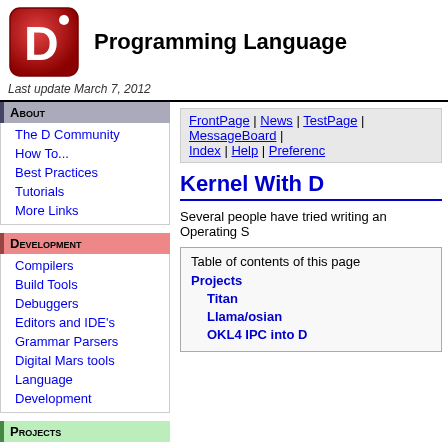[Figure (logo): D Programming Language logo - red rounded square with white D letter and dot]
Programming Language
Last update March 7, 2012
About (nav header)
The D Community
How To...
Best Practices
Tutorials
More Links
FrontPage | News | TestPage | MessageBoard | Index | Help | Preferenc
Kernel With D
Development (nav header)
Compilers
Build Tools
Debuggers
Editors and IDE's
Grammar Parsers
Digital Mars tools
Language
Development
Several people have tried writing an Operating S
Table of contents of this page
Projects
Titan
Llama/osian
OKL4 IPC into D
Projects (nav header)